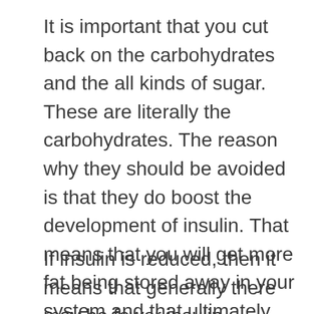It is important that you cut back on the carbohydrates and the all kinds of sugar. These are literally the carbohydrates. The reason why they should be avoided is that they do boost the development of insulin. That means that you will get more fat being stored away in your system and that ultimately leads to you being overweight.
If insulin is reduced, then it means that generally there may be fewer insulin reserves in the system. On